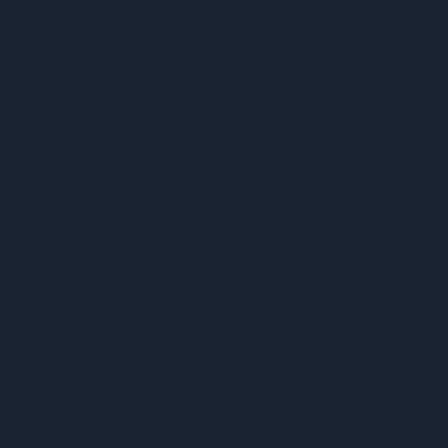The Tek 0189: Should We Genetically Modify Ba... | Level1Techs
Complete $10 & Far Cry 4 $20
1 day 11 hours ago
Either the amazon links have expired or they don...
<img src="https://teksyndicate.com/sites/all/th
Static and building a pc
2 days 1 hour ago
Just touch the power supply now and aga
1 / 86